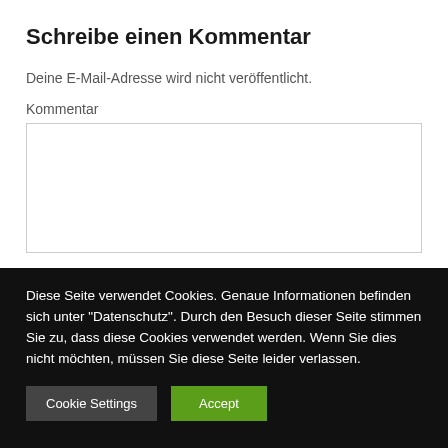Schreibe einen Kommentar
Deine E-Mail-Adresse wird nicht veröffentlicht.
Kommentar
Diese Seite verwendet Cookies. Genaue Informationen befinden sich unter "Datenschutz". Durch den Besuch dieser Seite stimmen Sie zu, dass diese Cookies verwendet werden. Wenn Sie dies nicht möchten, müssen Sie diese Seite leider verlassen.